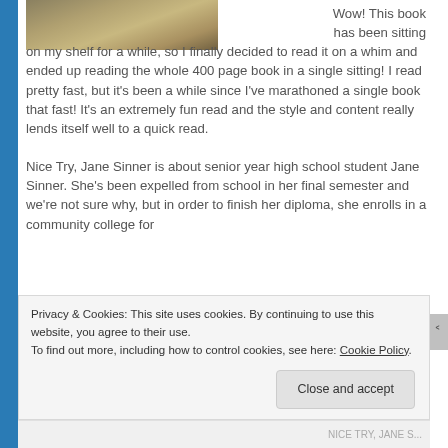[Figure (photo): Partial view of a book cover with olive/tan colored fabric or background texture]
Wow! This book has been sitting on my shelf for a while, so I finally decided to read it on a whim and ended up reading the whole 400 page book in a single sitting! I read pretty fast, but it's been a while since I've marathoned a single book that fast! It's an extremely fun read and the style and content really lends itself well to a quick read.

Nice Try, Jane Sinner is about senior year high school student Jane Sinner. She's been expelled from school in her final semester and we're not sure why, but in order to finish her diploma, she enrolls in a community college for
Privacy & Cookies: This site uses cookies. By continuing to use this website, you agree to their use.
To find out more, including how to control cookies, see here: Cookie Policy
Close and accept